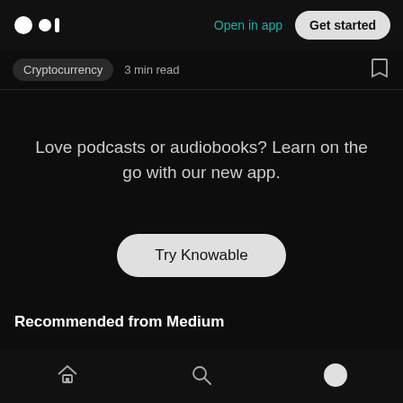Open in app  Get started
Cryptocurrency  3 min read
Love podcasts or audiobooks? Learn on the go with our new app.
Try Knowable
Recommended from Medium
Home  Search  Profile